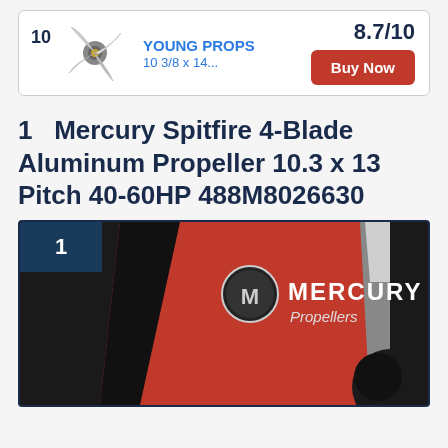[Figure (other): Advertisement card showing a boat propeller image, Young Props brand name, model 10 3/8 x 14..., score 8.7/10, and a Buy Now button]
1  Mercury Spitfire 4-Blade Aluminum Propeller 10.3 x 13 Pitch 40-60HP 488M8026630
[Figure (photo): Product image #1 showing Mercury Propellers branded packaging/box with Mercury logo and red/black design, with a black propeller visible at the bottom right]